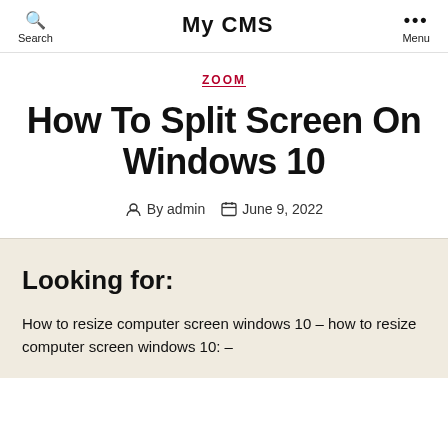Search | My CMS | Menu
ZOOM
How To Split Screen On Windows 10
By admin   June 9, 2022
Looking for:
How to resize computer screen windows 10 – how to resize computer screen windows 10: –